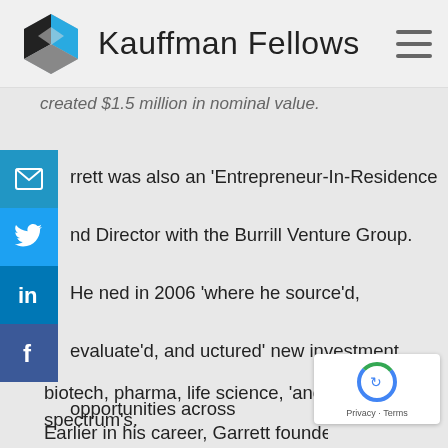Kauffman Fellows
created $1.5 million in nominal value.
rrett was also an 'Entrepreneur-In-Residence and Director with the Burrill Venture Group. He ned in 2006 'where he source'd, evaluate'd, and uctured' new investment opportunities across biotech, pharma, life science, 'and healthcare spectrum's.
Earlier in his career, Garrett founded Ceratot...